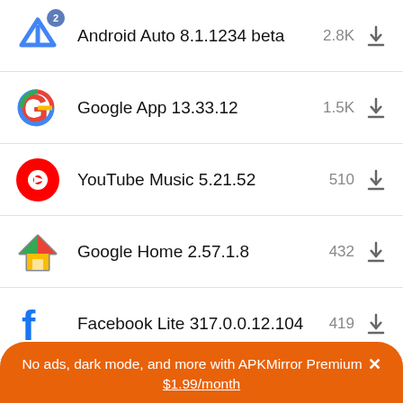Android Auto 8.1.1234 beta — 2.8K
Google App 13.33.12 — 1.5K
YouTube Music 5.21.52 — 510
Google Home 2.57.1.8 — 432
Facebook Lite 317.0.0.12.104 — 419
Facebook 383.0.0.33 alpha — 400
No ads, dark mode, and more with APKMirror Premium × $1.99/month